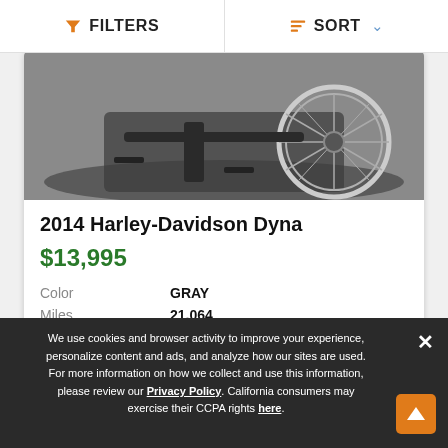FILTERS  SORT
[Figure (photo): Partial view of a 2014 Harley-Davidson Dyna motorcycle showing the front wheel/tire area and lower frame, parked on a mat]
2014 Harley-Davidson Dyna
$13,995
| Color | GRAY |
| Miles | 21,064 |
< 1 2 3 >
We use cookies and browser activity to improve your experience, personalize content and ads, and analyze how our sites are used. For more information on how we collect and use this information, please review our Privacy Policy. California consumers may exercise their CCPA rights here.